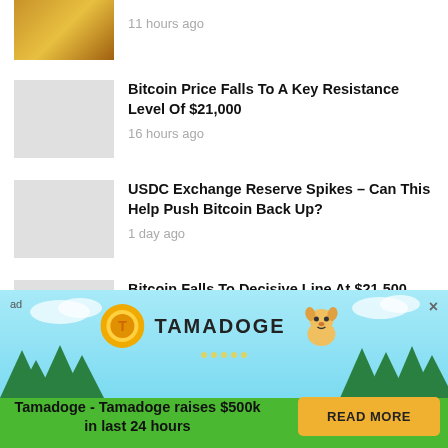[Figure (photo): Gold/bitcoin image thumbnail at top]
11 hours ago
[Figure (photo): Gray placeholder thumbnail for Bitcoin price article]
Bitcoin Price Falls To A Key Resistance Level Of $21,000
16 hours ago
[Figure (photo): Gray placeholder thumbnail for USDC Exchange Reserve article]
USDC Exchange Reserve Spikes – Can This Help Push Bitcoin Back Up?
1 day ago
[Figure (photo): Gray placeholder thumbnail for Bitcoin Falls decisive line article]
Bitcoin Falls To Decisive Line At $21,500, What Levels Should BTC Hold?
2 days ago
[Figure (photo): Gray placeholder thumbnail for Bitcoin Tumbles article]
Bitcoin Tumbles As Fed Opts For Restrictive Rates
[Figure (infographic): Tamadoge advertisement banner with teal background, coin logo, dog mascot, trees, and READ MORE button]
Tamadoge - Tamadoge raises $500k in last 24 hours